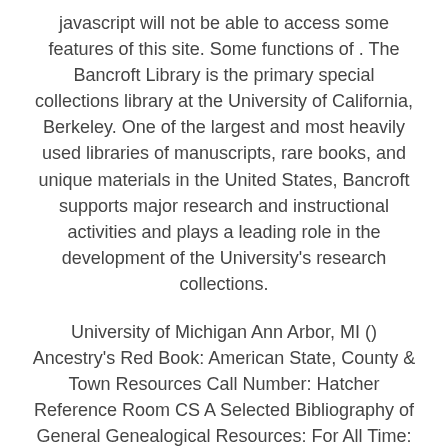javascript will not be able to access some features of this site. Some functions of . The Bancroft Library is the primary special collections library at the University of California, Berkeley. One of the largest and most heavily used libraries of manuscripts, rare books, and unique materials in the United States, Bancroft supports major research and instructional activities and plays a leading role in the development of the University's research collections.
University of Michigan Ann Arbor, MI () Ancestry's Red Book: American State, County & Town Resources Call Number: Hatcher Reference Room CS A Selected Bibliography of General Genealogical Resources: For All Time: A Complete Guide to Writing Your Family HistoryAuthor: Scott Dennis. Main Library ZN67 W55 This book serves as the first and only master listing of bibliographies in the field of